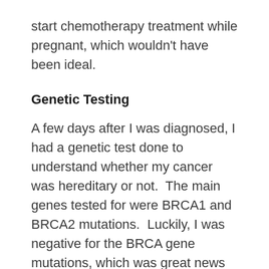start chemotherapy treatment while pregnant, which wouldn't have been ideal.
Genetic Testing
A few days after I was diagnosed, I had a genetic test done to understand whether my cancer was hereditary or not.  The main genes tested for were BRCA1 and BRCA2 mutations.  Luckily, I was negative for the BRCA gene mutations, which was great news as this meant that I hadn't passed the mutation on to Sophia.